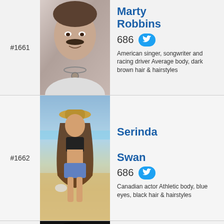#1661
[Figure (photo): Black and white photo of Marty Robbins, smiling man with mustache wearing a necklace]
Marty Robbins
686
American singer, songwriter and racing driver Average body, dark brown hair & hairstyles
#1662
[Figure (photo): Color photo of Serinda Swan walking on a beach wearing a bikini top, shorts and hat]
Serinda Swan
686
Canadian actor Athletic body, blue eyes, black hair & hairstyles
[Figure (photo): Black and white close-up photo of James with dark tousled hair]
James